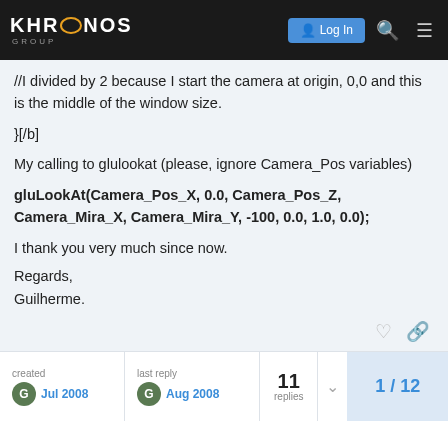Khronos Group — Log In
//I divided by 2 because I start the camera at origin, 0,0 and this is the middle of the window size.
}[/b]
My calling to glulookat (please, ignore Camera_Pos variables)
gluLookAt(Camera_Pos_X, 0.0, Camera_Pos_Z, Camera_Mira_X, Camera_Mira_Y, -100, 0.0, 1.0, 0.0);
I thank you very much since now.
Regards,
Guilherme.
created Jul 2008   last reply Aug 2008   11 replies   1 / 12